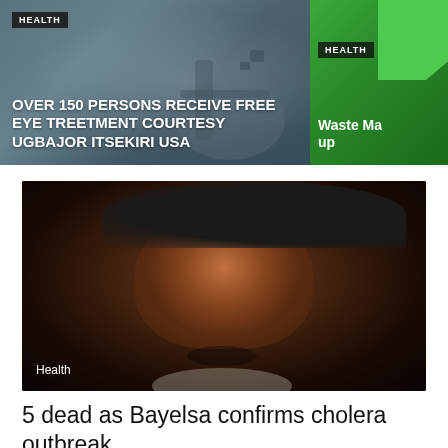[Figure (photo): Medical room background with equipment, health news card showing eye treatment story]
HEALTH
OVER 150 PERSONS RECEIVE FREE EYE TREETMENT COURTESY UGBAJOR ITSEKIRI USA
[Figure (photo): Green background with partial image, health news card showing Waste Management story]
HEALTH
Waste Ma... up
[Figure (photo): Dark portrait photo of a man wearing a hat, looking at camera with slight smile]
Health
5 dead as Bayelsa confirms cholera outbreak